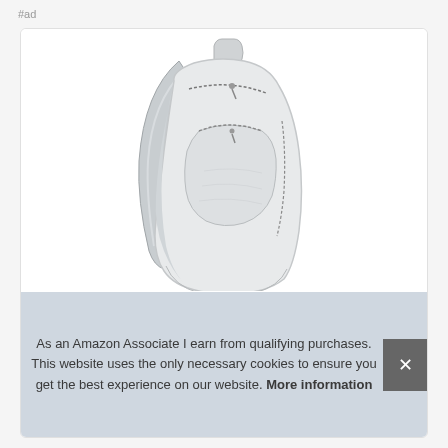#ad
[Figure (photo): A white leather backpack with zipper details and two shoulder straps, shown against a white background inside a card frame.]
As an Amazon Associate I earn from qualifying purchases. This website uses the only necessary cookies to ensure you get the best experience on our website. More information